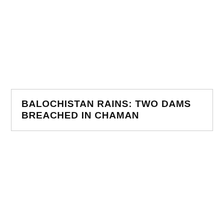BALOCHISTAN RAINS: TWO DAMS BREACHED IN CHAMAN